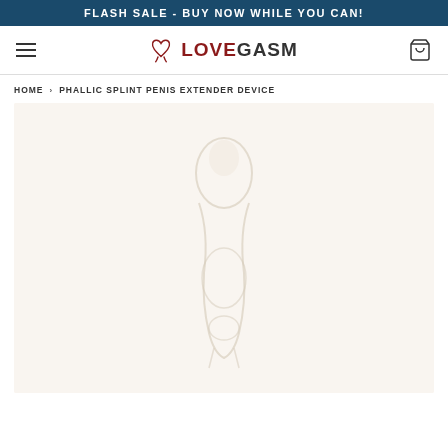FLASH SALE - BUY NOW WHILE YOU CAN!
[Figure (logo): Lovegasm logo with heart icon, text LOVEGASM in dark red and dark grey, hamburger menu on left, cart icon on right]
HOME › PHALLIC SPLINT PENIS EXTENDER DEVICE
[Figure (photo): Product photo of a phallic splint penis extender device against a light cream/off-white background, shown as a faded/watermarked style image]